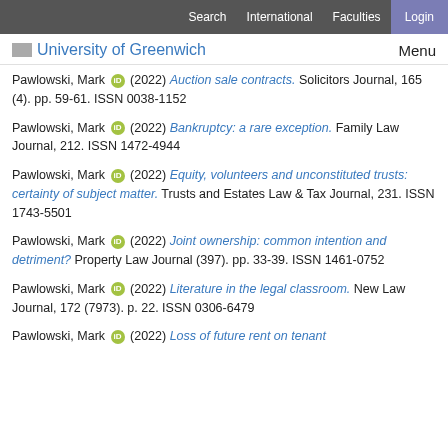Search  International  Faculties  Login
University of Greenwich  Menu
Pawlowski, Mark (2022) Auction sale contracts. Solicitors Journal, 165 (4). pp. 59-61. ISSN 0038-1152
Pawlowski, Mark (2022) Bankruptcy: a rare exception. Family Law Journal, 212. ISSN 1472-4944
Pawlowski, Mark (2022) Equity, volunteers and unconstituted trusts: certainty of subject matter. Trusts and Estates Law & Tax Journal, 231. ISSN 1743-5501
Pawlowski, Mark (2022) Joint ownership: common intention and detriment? Property Law Journal (397). pp. 33-39. ISSN 1461-0752
Pawlowski, Mark (2022) Literature in the legal classroom. New Law Journal, 172 (7973). p. 22. ISSN 0306-6479
Pawlowski, Mark (2022) Loss of future rent on tenant